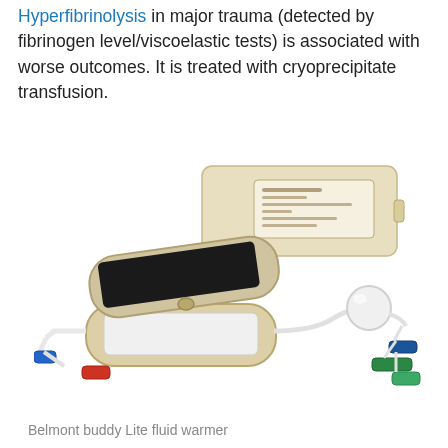Hyperfibrinolysis in major trauma (detected by fibrinogen level/viscoelastic tests) is associated with worse outcomes. It is treated with cryoprecipitate transfusion.
[Figure (photo): Belmont buddy Lite fluid warmer device — a beige/tan clamshell case open showing a black heating pad on top and white filter pad on bottom, connected via black coiled cable to a rectangular beige battery/control box with a label. Tubing extends from the device with blue and red connectors on one end, and a white spherical bubble trap with blue, green, and teal connectors on the other end.]
Belmont buddy Lite fluid warmer